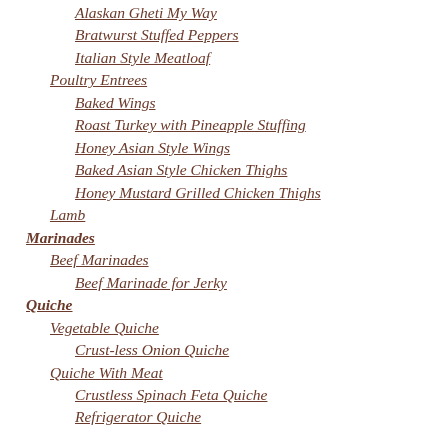Alaskan Gheti My Way
Bratwurst Stuffed Peppers
Italian Style Meatloaf
Poultry Entrees
Baked Wings
Roast Turkey with Pineapple Stuffing
Honey Asian Style Wings
Baked Asian Style Chicken Thighs
Honey Mustard Grilled Chicken Thighs
Lamb
Marinades
Beef Marinades
Beef Marinade for Jerky
Quiche
Vegetable Quiche
Crust-less Onion Quiche
Quiche With Meat
Crustless Spinach Feta Quiche
Refrigerator Quiche